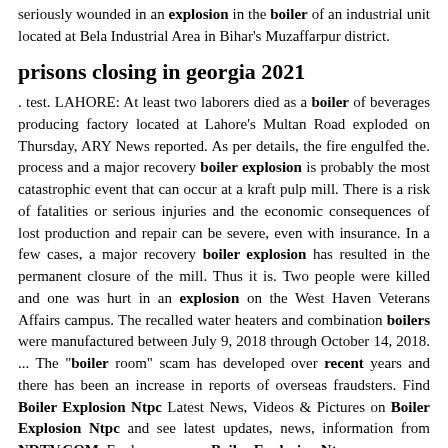seriously wounded in an explosion in the boiler of an industrial unit located at Bela Industrial Area in Bihar's Muzaffarpur district.
prisons closing in georgia 2021
. test. LAHORE: At least two laborers died as a boiler of beverages producing factory located at Lahore's Multan Road exploded on Thursday, ARY News reported. As per details, the fire engulfed the. process and a major recovery boiler explosion is probably the most catastrophic event that can occur at a kraft pulp mill. There is a risk of fatalities or serious injuries and the economic consequences of lost production and repair can be severe, even with insurance. In a few cases, a major recovery boiler explosion has resulted in the permanent closure of the mill. Thus it is. Two people were killed and one was hurt in an explosion on the West Haven Veterans Affairs campus. The recalled water heaters and combination boilers were manufactured between July 9, 2018 through October 14, 2018. ... The "boiler room" scam has developed over recent years and there has been an increase in reports of overseas fraudsters. Find Boiler Explosion Ntpc Latest News, Videos & Pictures on Boiler Explosion Ntpc and see latest updates, news, information from NDTV.COM. Explore more on Boiler Explosion Ntpc.
For J...hore Ejcknee Kheknee Three More suffering injuries...